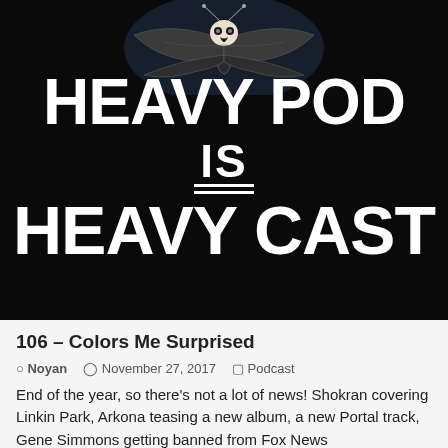[Figure (logo): Heavy Pod is Heavy Cast podcast logo: black background with illustrated moth/skull moth at top, large white bold text reading 'HEAVY POD IS HEAVY CAST' with a horizontal line under 'IS']
106 – Colors Me Surprised
Noyan   November 27, 2017   Podcast
End of the year, so there's not a lot of news! Shokran covering Linkin Park, Arkona teasing a new album, a new Portal track, Gene Simmons getting banned from Fox News